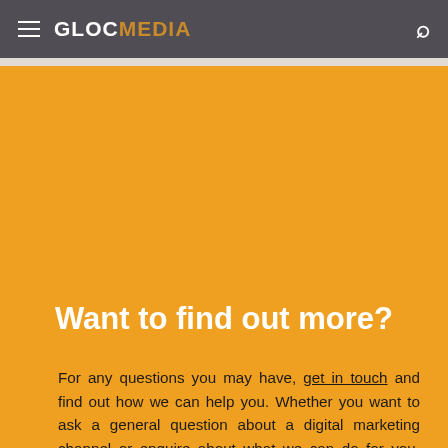GLOCMEDIA
Want to find out more?
For any questions you may have, get in touch and find out how we can help you. Whether you want to ask a general question about a digital marketing channel or enquire about what we can do for you, please feel free to drop us a line. We are more than